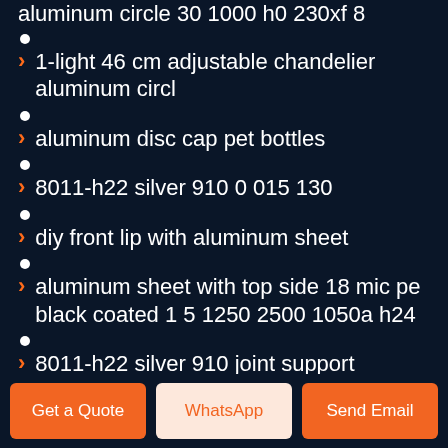aluminum circle 30 1000 h0 230xf 8
1-light 46 cm adjustable chandelier aluminum circl
aluminum disc cap pet bottles
8011-h22 silver 910 0 015 130
diy front lip with aluminum sheet
aluminum sheet with top side 18 mic pe black coated 1 5 1250 2500 1050a h24
8011-h22 silver 910 joint support